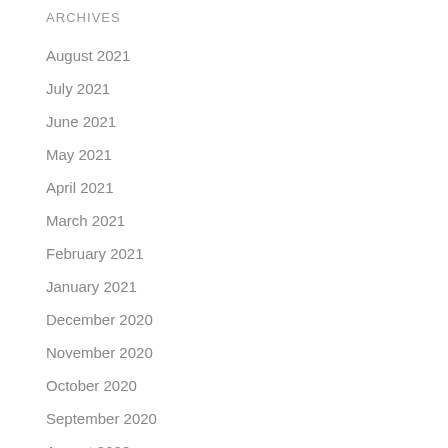ARCHIVES
August 2021
July 2021
June 2021
May 2021
April 2021
March 2021
February 2021
January 2021
December 2020
November 2020
October 2020
September 2020
August 2020